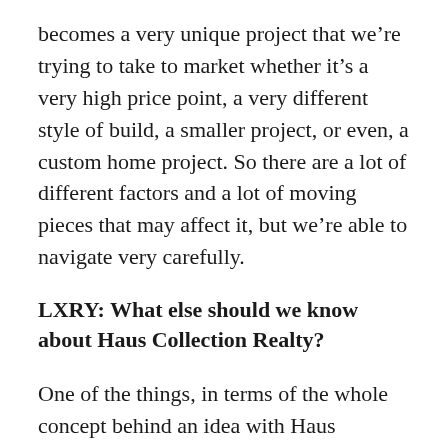becomes a very unique project that we're trying to take to market whether it's a very high price point, a very different style of build, a smaller project, or even, a custom home project. So there are a lot of different factors and a lot of moving pieces that may affect it, but we're able to navigate very carefully.
LXRY: What else should we know about Haus Collection Realty?
One of the things, in terms of the whole concept behind an idea with Haus Collection Realty, is that we are very